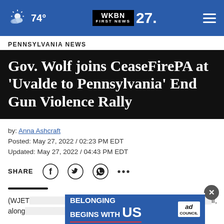74° WKBN FIRST NEWS 27.
PENNSYLVANIA NEWS
Gov. Wolf joins CeaseFirePA at 'Uvalde to Pennsylvania' End Gun Violence Rally
by: Anna Ashcraft
Posted: May 27, 2022 / 02:23 PM EDT
Updated: May 27, 2022 / 04:43 PM EDT
SHARE
(WJET/WFXP/YourErie.com) — ... Wolf, along ... ed
[Figure (screenshot): Ad banner: Belonging Begins With US, Ad Council]